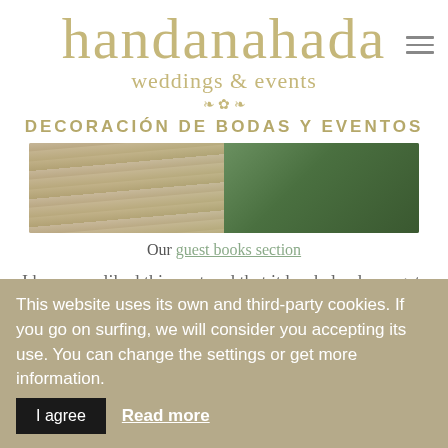[Figure (logo): Handanahada weddings & events logo in script font with olive/tan color, subtitle 'weddings & events' and floral divider]
DECORACIÓN DE BODAS Y EVENTOS
[Figure (photo): Photo strip showing wooden surface and green leaves/plants on the right]
Our guest books section
I hope you liked this post and that it has helped you get some inspiration.
This website uses its own and third-party cookies. If you go on surfing, we will consider you accepting its use. You can change the settings or get more information. I agree Read more